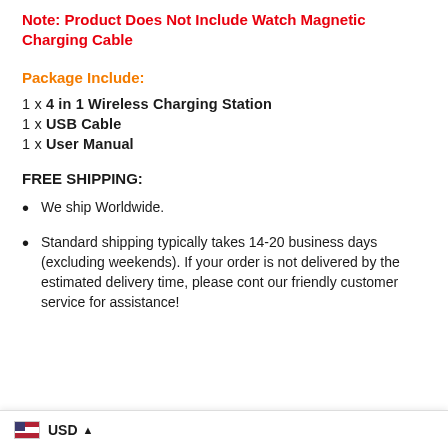Note: Product Does Not Include Watch Magnetic Charging Cable
Package Include:
1 x 4 in 1  Wireless Charging Station
1 x USB Cable
1 x User Manual
FREE SHIPPING:
We ship Worldwide.
Standard shipping typically takes 14-20 business days (excluding weekends). If your order is not delivered by the estimated delivery time, please contact our friendly customer service for assistance!
USD